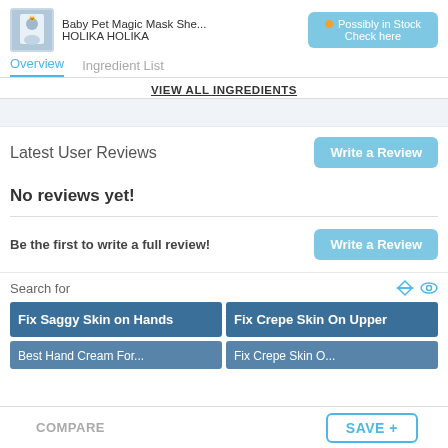Baby Pet Magic Mask She... HOLIKA HOLIKA — Possibly in Stock, Check here
Overview | Ingredient List
VIEW ALL INGREDIENTS
Latest User Reviews
Write a Review
No reviews yet!
Be the first to write a full review!
Write a Review
Search for
Fix Saggy Skin on Hands
Fix Crepe Skin On Upper
COMPARE   SAVE +